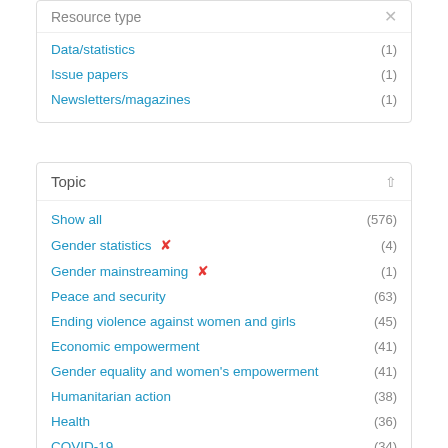Resource type
Data/statistics (1)
Issue papers (1)
Newsletters/magazines (1)
Topic
Show all (576)
Gender statistics ✕ (4)
Gender mainstreaming ✕ (1)
Peace and security (63)
Ending violence against women and girls (45)
Economic empowerment (41)
Gender equality and women's empowerment (41)
Humanitarian action (38)
Health (36)
COVID-19 (34)